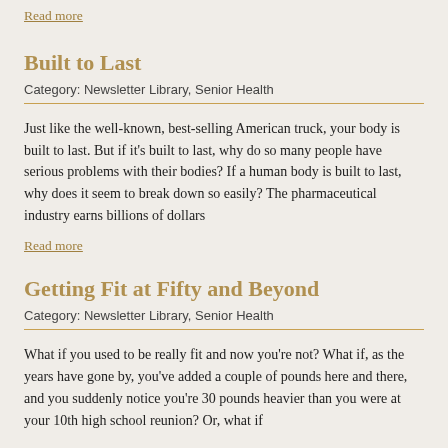Read more
Built to Last
Category: Newsletter Library, Senior Health
Just like the well-known, best-selling American truck, your body is built to last. But if it's built to last, why do so many people have serious problems with their bodies? If a human body is built to last, why does it seem to break down so easily? The pharmaceutical industry earns billions of dollars
Read more
Getting Fit at Fifty and Beyond
Category: Newsletter Library, Senior Health
What if you used to be really fit and now you're not? What if, as the years have gone by, you've added a couple of pounds here and there, and you suddenly notice you're 30 pounds heavier than you were at your 10th high school reunion? Or, what if